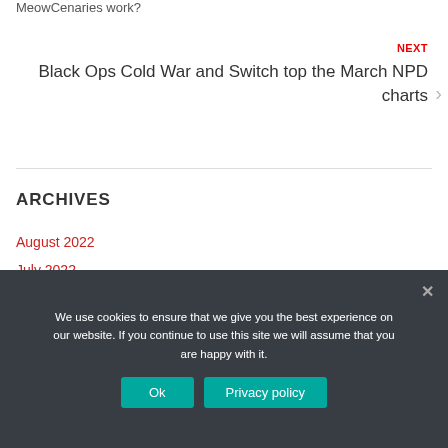MeowCenaries work?
NEXT
Black Ops Cold War and Switch top the March NPD charts
ARCHIVES
August 2022
July 2022
June 2022
We use cookies to ensure that we give you the best experience on our website. If you continue to use this site we will assume that you are happy with it.